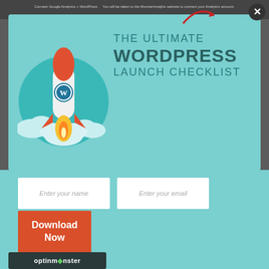[Figure (screenshot): A popup modal for 'The Ultimate WordPress Launch Checklist' with a rocket illustration, input fields for name and email, a Download Now button, and OptinMonster branding. Shown over a webpage with a dimmed background.]